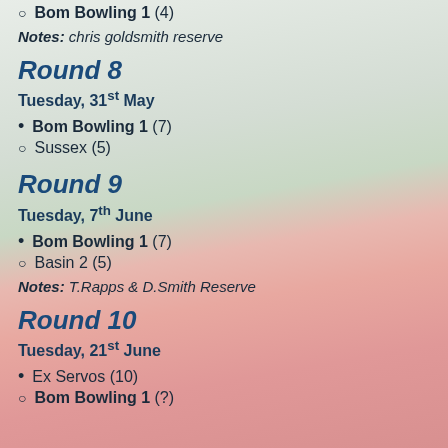Bom Bowling 1 (4)
Notes: chris goldsmith reserve
Round 8
Tuesday, 31st May
Bom Bowling 1 (7)
Sussex (5)
Round 9
Tuesday, 7th June
Bom Bowling 1 (7)
Basin 2 (5)
Notes: T.Rapps & D.Smith Reserve
Round 10
Tuesday, 21st June
Ex Servos (10)
Bom Bowling 1 (?)